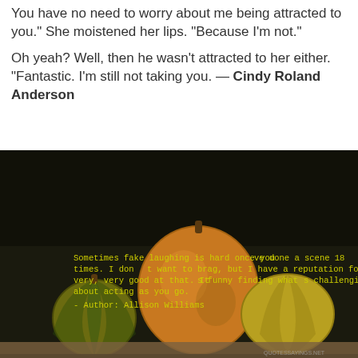You have no need to worry about me being attracted to you." She moistened her lips. "Because I'm not."

Oh yeah? Well, then he wasn't attracted to her either. "Fantastic. I'm still not taking you. — Cindy Roland Anderson
[Figure (photo): Dark photo of decorative gourds/squash arranged on a surface. Overlaid yellow text reads: 'Sometimes fake laughing is hard once you ve done a scene 18 times. I don t want to brag, but I have a reputation for being very, very good at that. It s funny finding what s challenging about acting as you go. - Author: Allison Williams'. Website watermark 'QUOTESSAYINGS.NET' in lower right corner.]